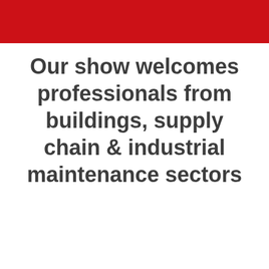Our show welcomes professionals from buildings, supply chain & industrial maintenance sectors